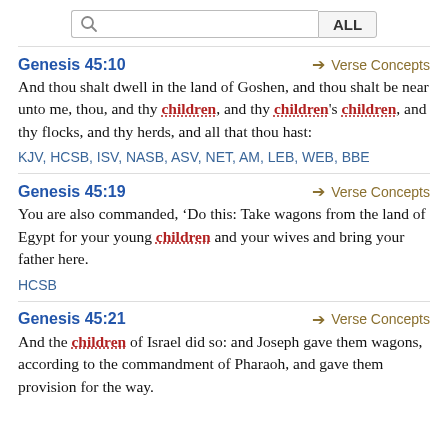[Figure (screenshot): Search bar with magnifying glass icon and ALL button]
Genesis 45:10
And thou shalt dwell in the land of Goshen, and thou shalt be near unto me, thou, and thy children, and thy children's children, and thy flocks, and thy herds, and all that thou hast:
KJV, HCSB, ISV, NASB, ASV, NET, AM, LEB, WEB, BBE
Genesis 45:19
You are also commanded, ‘Do this: Take wagons from the land of Egypt for your young children and your wives and bring your father here.
HCSB
Genesis 45:21
And the children of Israel did so: and Joseph gave them wagons, according to the commandment of Pharaoh, and gave them provision for the way.